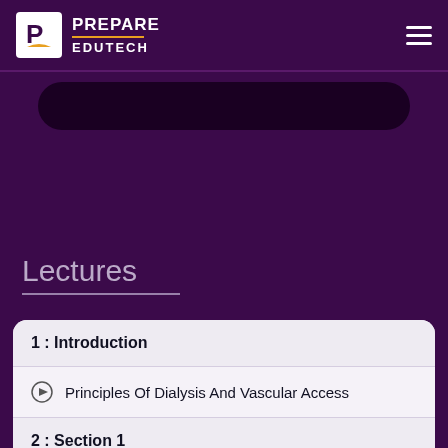PREPARE EDUTECH
Lectures
1 : Introduction
Principles Of Dialysis And Vascular Access
2 : Section 1
Vital Signs Diploma Dialysis 2 Year